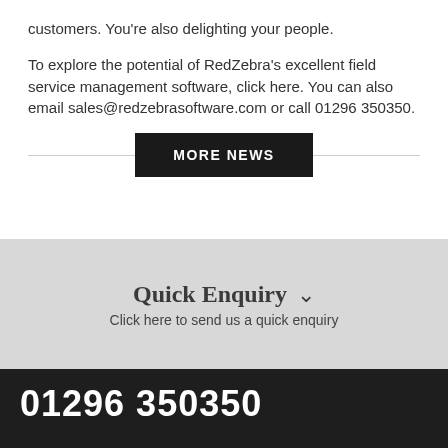customers. You're also delighting your people.

To explore the potential of RedZebra's excellent field service management software, click here. You can also email sales@redzebrasoftware.com or call 01296 350350.
MORE NEWS
Quick Enquiry
Click here to send us a quick enquiry
01296 350350
Online De
Chat now